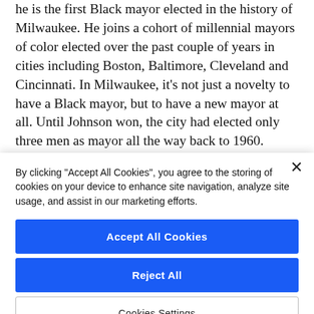he is the first Black mayor elected in the history of Milwaukee. He joins a cohort of millennial mayors of color elected over the past couple of years in cities including Boston, Baltimore, Cleveland and Cincinnati. In Milwaukee, it's not just a novelty to have a Black mayor, but to have a new mayor at all. Until Johnson won, the city had elected only three men as mayor all the way back to 1960.
By clicking "Accept All Cookies", you agree to the storing of cookies on your device to enhance site navigation, analyze site usage, and assist in our marketing efforts.
Accept All Cookies
Reject All
Cookies Settings